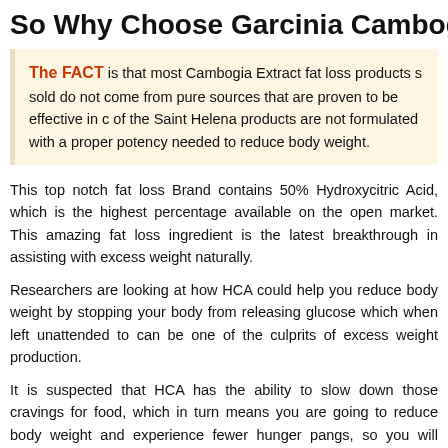So Why Choose Garcinia Cambogia Extract?
The FACT is that most Cambogia Extract fat loss products sold do not come from pure sources that are proven to be effective in clinical trials. Many of the Saint Helena products are not formulated with a proper level of potency needed to reduce body weight.
This top notch fat loss Brand contains 50% Hydroxycitric Acid, which is the highest percentage available on the open market. This amazing fat loss ingredient is the latest breakthrough in assisting with excess weight naturally.
Researchers are looking at how HCA could help you reduce body weight by stopping your body from releasing glucose which when left unattended to can be one of the culprits of excess weight production.
It is suspected that HCA has the ability to slow down those cravings for food, which in turn means you are going to reduce body weight and experience fewer hunger pangs, so you will probably think about food less often which means more fat loss with